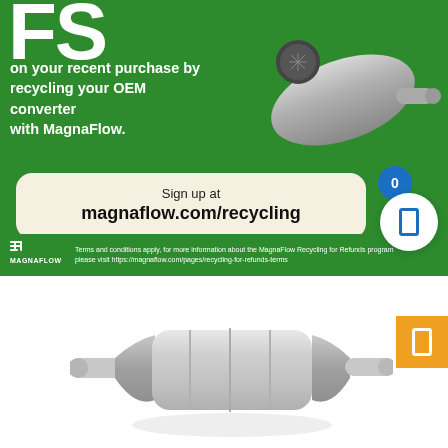[Figure (infographic): MagnaFlow recycling for refunds promotional banner on green background with catalytic converter image]
on your recent purchase by recycling your OEM converter with MagnaFlow.
Sign up at magnaflow.com/recycling
Terms and conditions apply, for more information about the MagnaFlow Recycling for Refunds program please visit https://magnaflow.com/pages/recycling-for-refunds-terms
[Figure (photo): Catalytic converter product photo on white background]